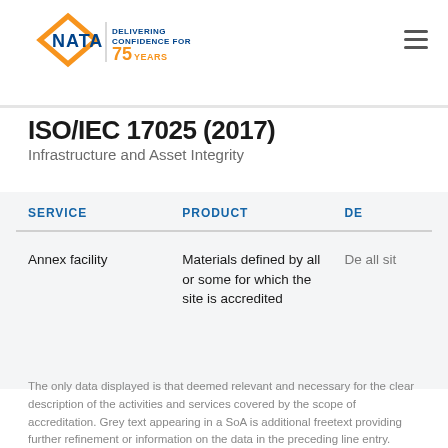NATA — Delivering Confidence for 75 Years
ISO/IEC 17025 (2017)
Infrastructure and Asset Integrity
| SERVICE | PRODUCT | DE |
| --- | --- | --- |
| Annex facility | Materials defined by all or some for which the site is accredited | De all sit |
The only data displayed is that deemed relevant and necessary for the clear description of the activities and services covered by the scope of accreditation. Grey text appearing in a SoA is additional freetext providing further refinement or information on the data in the preceding line entry.